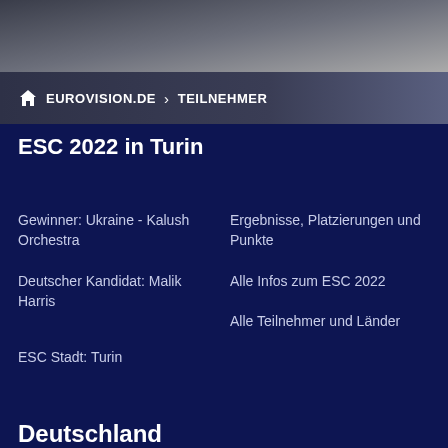EUROVISION.DE > TEILNEHMER
ESC 2022 in Turin
Gewinner: Ukraine - Kalush Orchestra
Ergebnisse, Platzierungen und Punkte
Deutscher Kandidat: Malik Harris
Alle Infos zum ESC 2022
Alle Teilnehmer und Länder
ESC Stadt: Turin
Deutschland